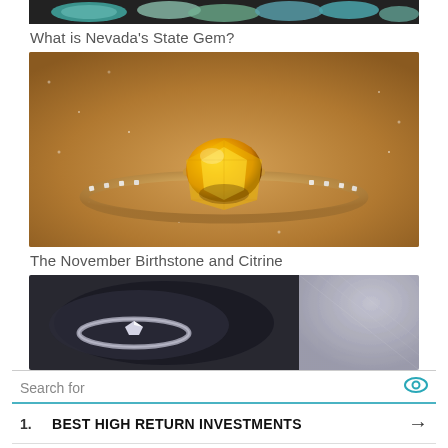[Figure (photo): Top partial image of colorful opals on dark background]
What is Nevada's State Gem?
[Figure (photo): Close-up photo of a yellow citrine ring with diamond band on gold setting, resting on glittery brown background]
The November Birthstone and Citrine
[Figure (photo): Photo of a ring in a dark velvet jewelry box]
Search for
1. BEST HIGH RETURN INVESTMENTS →
2. MASTER'S DEGREE IN CYBERSECURITY →
Ad | Business Focus